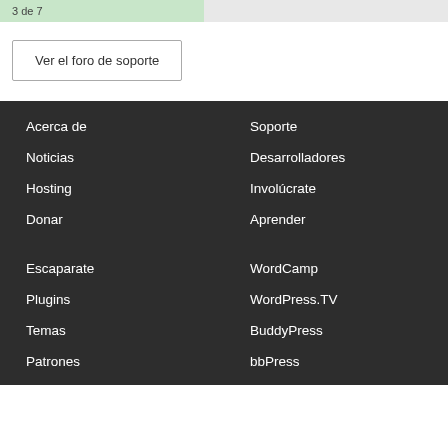3 de 7
Ver el foro de soporte
Acerca de
Noticias
Hosting
Donar
Soporte
Desarrolladores
Involúcrate
Aprender
Escaparate
Plugins
Temas
Patrones
WordCamp
WordPress.TV
BuddyPress
bbPress